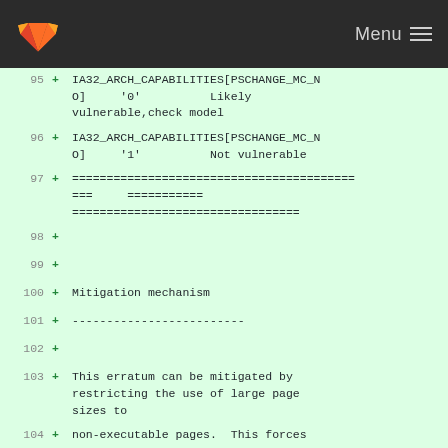Menu
95  + IA32_ARCH_CAPABILITIES[PSCHANGE_MC_NO]    '0'         Likely vulnerable,check model
96  + IA32_ARCH_CAPABILITIES[PSCHANGE_MC_NO]    '1'         Not vulnerable
97  + ========================================= ===      =========== =================================
98  +
99  +
100 + Mitigation mechanism
101 + -------------------------
102 +
103 + This erratum can be mitigated by restricting the use of large page sizes to
104 + non-executable pages.  This forces